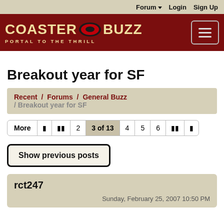Forum  Login  Sign Up
[Figure (logo): CoasterBuzz logo - Portal to the Thrill - on dark red background with hamburger menu icon]
Breakout year for SF
Recent / Forums / General Buzz / Breakout year for SF
More | |<< << 2 3 of 13 4 5 6 >>| >|
Show previous posts
rct247
Sunday, February 25, 2007 10:50 PM